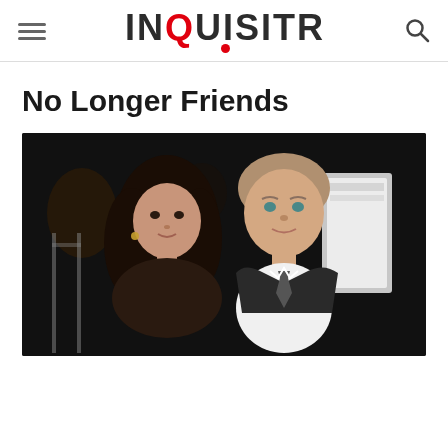INQUISITR
No Longer Friends
[Figure (photo): A young woman with long dark curly hair and a young man in a dark suit with a tie, posing together at what appears to be a formal event or premiere.]